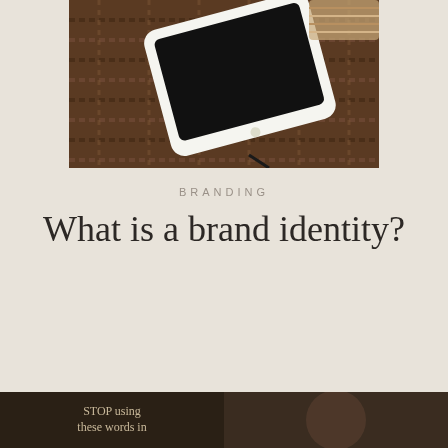[Figure (photo): Overhead photo of a white tablet/iPad on a white surface with a brown woven textile background, shot from above at an angle.]
BRANDING
What is a brand identity?
[Figure (photo): Bottom strip showing two partially visible thumbnail images: left shows text 'STOP using these words in' on dark background, right shows a person photo on dark background.]